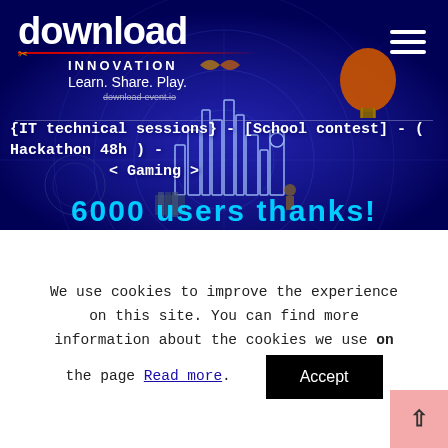[Figure (screenshot): Download Innovation website header with dark blue background, logo 'download', tagline 'INNOVATION Learn. Share. Play.', hamburger menu icon, and hero banner showing city skyline illustration with text '{IT technical sessions} - [School contest] - ( Hackathon 48h ) - < Gaming >' and '6000 users' text at bottom]
We use cookies to improve the experience on this site. You can find more information about the cookies we use on the page Read more. Accept